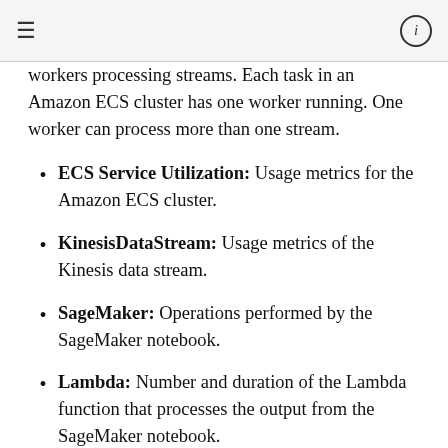≡  ⓘ
workers processing streams. Each task in an Amazon ECS cluster has one worker running. One worker can process more than one stream.
ECS Service Utilization: Usage metrics for the Amazon ECS cluster.
KinesisDataStream: Usage metrics of the Kinesis data stream.
SageMaker: Operations performed by the SageMaker notebook.
Lambda: Number and duration of the Lambda function that processes the output from the SageMaker notebook.
If any of the information in these graphs indicates an operational issue (such as a value steadily increasing rather than being stable), see the following section about how to read the application logs to determine the